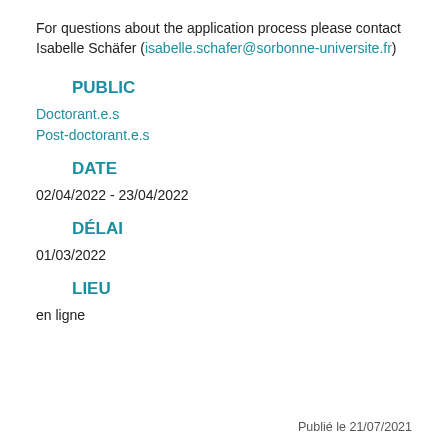For questions about the application process please contact Isabelle Schäfer (isabelle.schafer@sorbonne-universite.fr)
PUBLIC
Doctorant.e.s
Post-doctorant.e.s
DATE
02/04/2022 - 23/04/2022
DÉLAI
01/03/2022
LIEU
en ligne
Publié le 21/07/2021